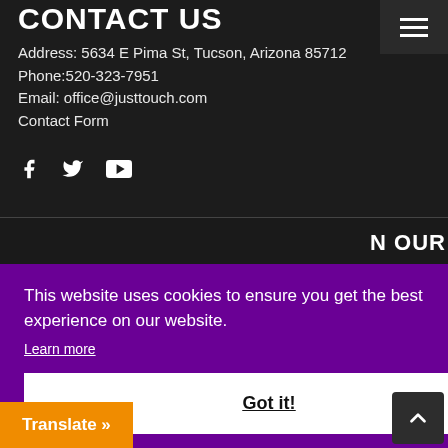CONTACT US
Address: 5634 E Pima St, Tucson, Arizona 85712
Phone:520-323-7951
Email: office@justtouch.com
Contact Form
[Figure (infographic): Social media icons: Facebook (f), Twitter (bird), YouTube (rectangle with play button)]
[Figure (screenshot): Hamburger menu icon (three horizontal lines) in dark box, top right]
N OUR
This website uses cookies to ensure you get the best experience on our website.
Learn more
Got it!
Translate »